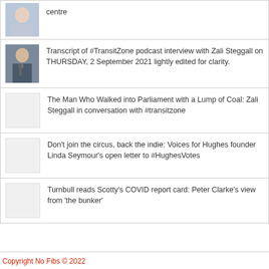centre
Transcript of #TransitZone podcast interview with Zali Steggall on THURSDAY, 2 September 2021 lightly edited for clarity.
The Man Who Walked into Parliament with a Lump of Coal: Zali Steggall in conversation with #transitzone
Don't join the circus, back the indie: Voices for Hughes founder Linda Seymour's open letter to #HughesVotes
Turnbull reads Scotty's COVID report card: Peter Clarke's view from 'the bunker'
Copyright No Fibs © 2022